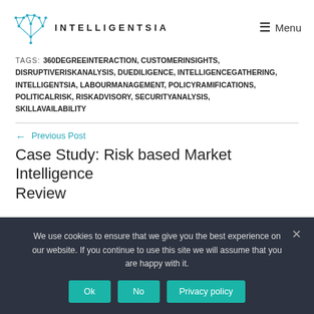INTELLIGENTSIA — Menu
TAGS: 360DEGREEINTERACTION, CUSTOMERINSIGHTS, DISRUPTIVERISKANALYSIS, DUEDILIGENCE, INTELLIGENCEGATHERING, INTELLIGENTSIA, LABOURMANAGEMENT, POLICYRAMIFICATIONS, POLITICALRISK, RISKADVISORY, SECURITYANALYSIS, SKILLAVAILABILITY
← Previous Post
Case Study: Risk based Market Intelligence Review
We use cookies to ensure that we give you the best experience on our website. If you continue to use this site we will assume that you are happy with it.